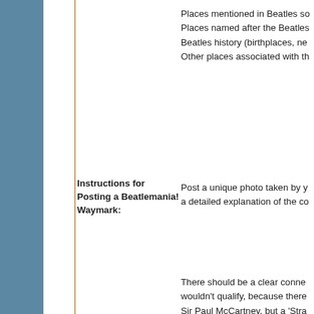Places mentioned in Beatles so... Places named after the Beatles... Beatles history (birthplaces, ne... Other places associated with th...
Instructions for Posting a Beatlemania! Waymark:
Post a unique photo taken by y... a detailed explanation of the co...
There should be a clear conne... wouldn't qualify, because there... Sir Paul McCartney, but a 'Stra... restaurant would clearly be nar... would qualify.
Locations should be publicly ac... on your basement wall doesn't...
Any location deemed to be lack... be denied.
You and your GPS do not nece... photo, but it should be a locatio... visited.